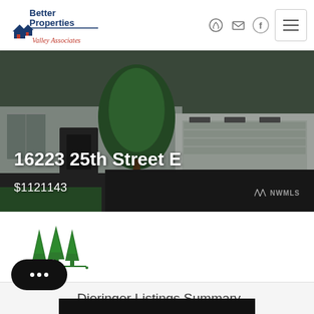[Figure (logo): Better Properties Valley Associates logo with house icons]
[Figure (photo): Exterior photo of a modern house at 16223 25th Street E with garage]
16223 25th Street E
$1121143
[Figure (logo): Green tree/forest company logo]
Dieringer Listings Summary